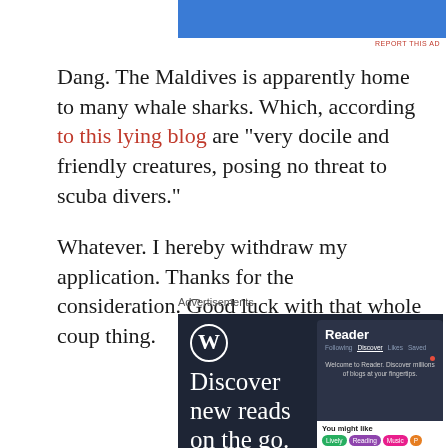[Figure (screenshot): Partial blue advertisement banner at top of page]
REPORT THIS AD
Dang. The Maldives is apparently home to many whale sharks. Which, according to this lying blog are "very docile and friendly creatures, posing no threat to scuba divers."
Whatever. I hereby withdraw my application. Thanks for the consideration. Good luck with that whole coup thing.
Advertisements
[Figure (screenshot): WordPress advertisement showing 'Discover new reads on the go.' with WordPress logo and Reader app screenshot on dark background]